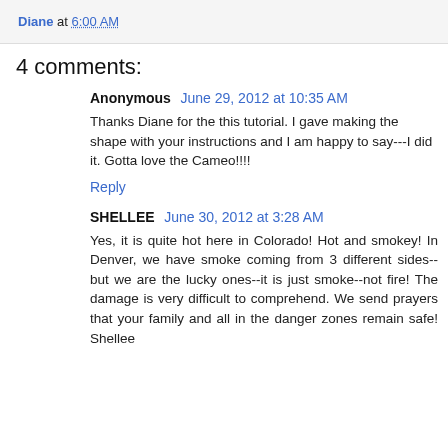Diane at 6:00 AM
4 comments:
Anonymous June 29, 2012 at 10:35 AM
Thanks Diane for the this tutorial. I gave making the shape with your instructions and I am happy to say---I did it. Gotta love the Cameo!!!!
Reply
SHELLEE June 30, 2012 at 3:28 AM
Yes, it is quite hot here in Colorado! Hot and smokey! In Denver, we have smoke coming from 3 different sides--but we are the lucky ones--it is just smoke--not fire! The damage is very difficult to comprehend. We send prayers that your family and all in the danger zones remain safe! Shellee